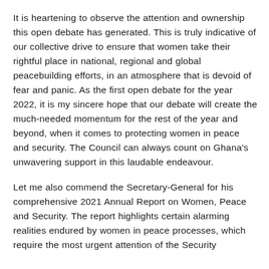It is heartening to observe the attention and ownership this open debate has generated. This is truly indicative of our collective drive to ensure that women take their rightful place in national, regional and global peacebuilding efforts, in an atmosphere that is devoid of fear and panic. As the first open debate for the year 2022, it is my sincere hope that our debate will create the much-needed momentum for the rest of the year and beyond, when it comes to protecting women in peace and security. The Council can always count on Ghana's unwavering support in this laudable endeavour.
Let me also commend the Secretary-General for his comprehensive 2021 Annual Report on Women, Peace and Security. The report highlights certain alarming realities endured by women in peace processes, which require the most urgent attention of the Security